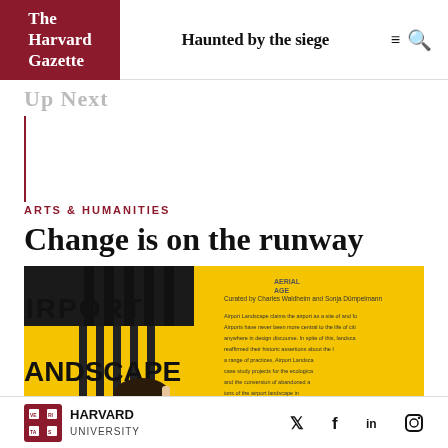The Harvard Gazette | Haunted by the siege
Up Next
ARTS & HUMANITIES
Change is on the runway
[Figure (photo): A person standing in front of a large yellow and black exhibition banner reading 'AIRPORT LANDSCAPE' with text describing the exhibition curated by Charles Waldheim and Sonja Dümpelmann.]
HARVARD UNIVERSITY — social media icons: Twitter, Facebook, LinkedIn, Instagram